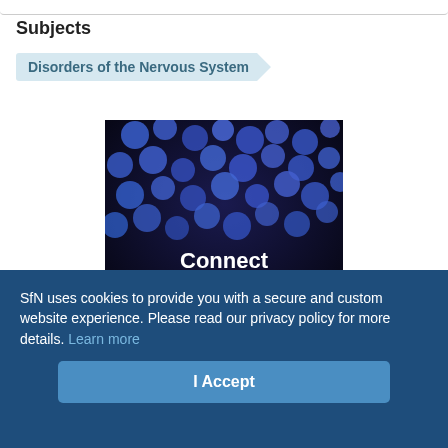Subjects
Disorders of the Nervous System
[Figure (photo): Dark blue microscopy image showing glowing blue circular cells/particles with white bold text overlay reading 'Connect with other neuroscientists']
SfN uses cookies to provide you with a secure and custom website experience. Please read our privacy policy for more details. Learn more
I Accept